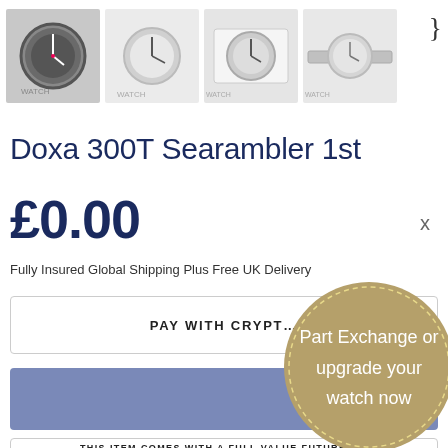[Figure (photo): Four watch thumbnail photos in a horizontal strip showing Doxa watches on white background]
Doxa 300T Searambler 1st
£0.00
Fully Insured Global Shipping Plus Free UK Delivery
PAY WITH CRYPT…
[Figure (infographic): Gold circle badge with dashed border reading 'Part Exchange or upgrade your watch now']
THIS ITEM COMES WITH A FULL VALUE FUTURE P…